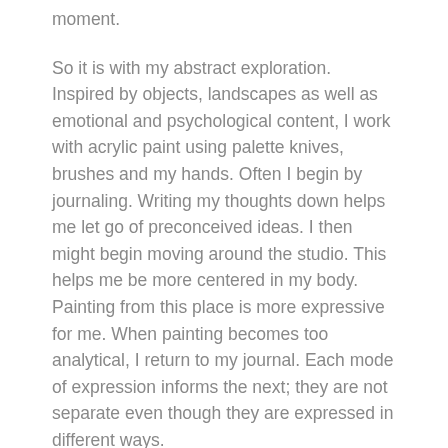moment.
So it is with my abstract exploration. Inspired by objects, landscapes as well as emotional and psychological content, I work with acrylic paint using palette knives, brushes and my hands. Often I begin by journaling. Writing my thoughts down helps me let go of preconceived ideas. I then might begin moving around the studio. This helps me be more centered in my body. Painting from this place is more expressive for me. When painting becomes too analytical, I return to my journal. Each mode of expression informs the next; they are not separate even though they are expressed in different ways.
The process of painting, writing and